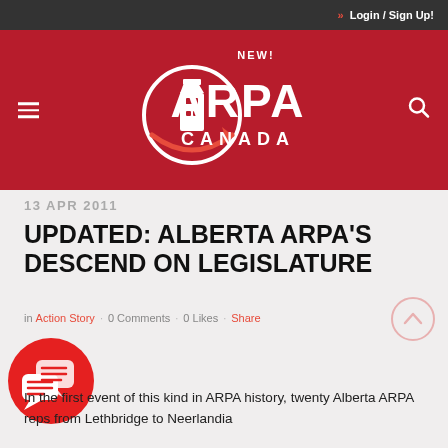» Login / Sign Up!
[Figure (logo): ARPA Canada logo — circular lighthouse icon with arrow, text 'NEW! ARPA CANADA' in white on red background]
13 APR 2011
UPDATED: ALBERTA ARPA'S DESCEND ON LEGISLATURE
in Action Story · 0 Comments · 0 Likes · Share
In the first event of this kind in ARPA history, twenty Alberta ARPA reps from Lethbridge to Neerlandia